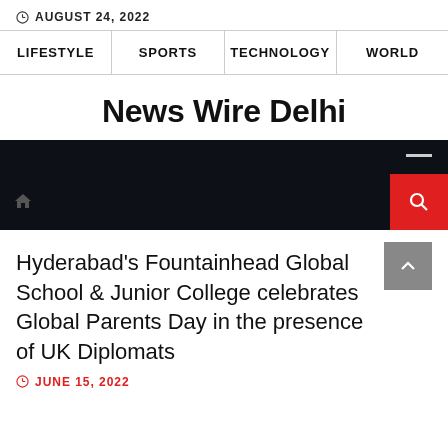AUGUST 24, 2022
LIFESTYLE | SPORTS | TECHNOLOGY | WORLD
News Wire Delhi
[Figure (screenshot): Dark navigation bar with home icon, hamburger/dash menu, red search button]
Hyderabad’s Fountainhead Global School & Junior College celebrates Global Parents Day in the presence of UK Diplomats
JUNE 15, 2022